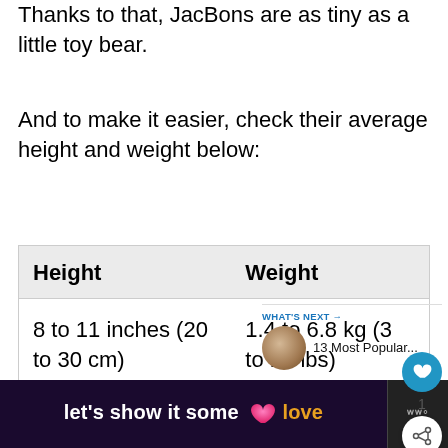Thanks to that, JacBons are as tiny as a little toy bear.
And to make it easier, check their average height and weight below:
| Height | Weight |
| --- | --- |
| 8 to 11 inches (20 to 30 cm) | 1.4 to 6.8 kg (3 to 15 lbs) |
WHAT'S NEXT → 13 Most Popular...
let's show it some love